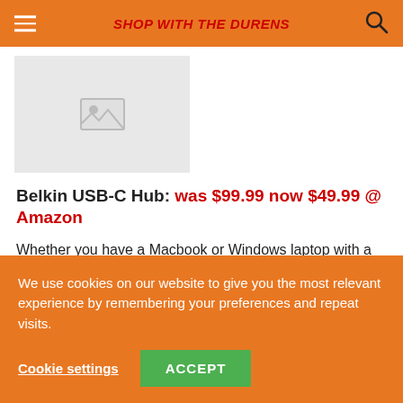SHOP WITH THE DURENS
[Figure (photo): Product image placeholder — grey rectangle with image icon]
Belkin USB-C Hub: was $99.99 now $49.99 @ Amazon
Whether you have a Macbook or Windows laptop with a USB-C port, the Belkin USB-C hub is right up your alley. It boasts a USB-A 3.0, a USB A 2.0, a USB-C port, an HDMI output (4K 30Hz), one Gigabit
We use cookies on our website to give you the most relevant experience by remembering your preferences and repeat visits.